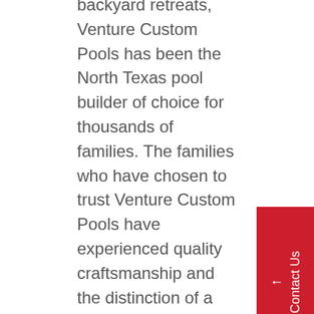backyard retreats, Venture Custom Pools has been the North Texas pool builder of choice for thousands of families. The families who have chosen to trust Venture Custom Pools have experienced quality craftsmanship and the distinction of a truly custom swimming pool.

We are one of the only custom pool builders in the Dallas area that owns our own building. We take pride in our strong financials and reputable brand, but most all, that we are operating at a 97% customer satisfaction rate. We love Texas, and know the Dallas area like the back of our hands. We are dedicated to improving the quality of life for our neighbors and the